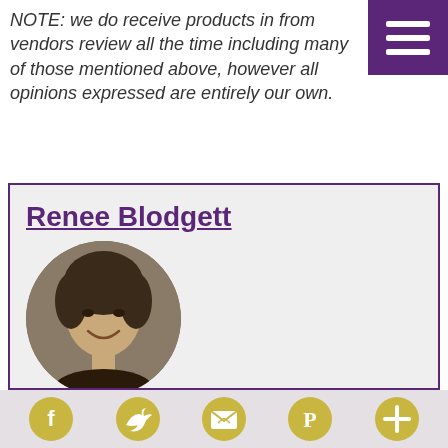NOTE: we do receive products in from vendors review all the time including many of those mentioned above, however all opinions expressed are entirely our own.
[Figure (illustration): Purple hamburger menu button in top-right corner]
Renee Blodgett
[Figure (photo): Circular profile photo of Renee Blodgett, a woman smiling, rendered in sepia/black-and-white tones]
Founder
Renee Blodgett is the founder of We Blog the World. The site combines the magic of an online culture and travel magazine with a global blog network and has contributors from every
[Figure (infographic): Bottom navigation bar with five golden circle social media icons: Facebook, Twitter, email/newsletter, Pinterest, and a plus/share button]